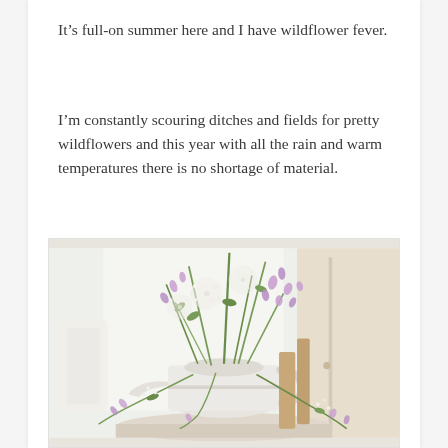It’s full-on summer here and I have wildflower fever.
I’m constantly scouring ditches and fields for pretty wildflowers and this year with all the rain and warm temperatures there is no shortage of material.
[Figure (photo): A white vintage watering can filled with an abundant arrangement of wildflowers including purple and white blooms with green stems and leaves, placed on a white surface near a bright window with a wooden chair visible in the background.]